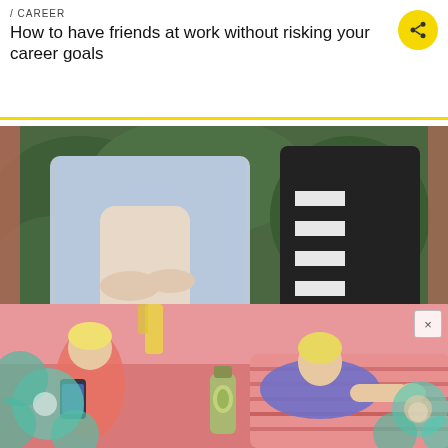/ CAREER
How to have friends at work without risking your career goals
[Figure (photo): Two women walking together outdoors, wearing fashionable patterned coats and carrying handbags, with green foliage in the background.]
Image: Showbit.com
For a lot of us, having coworkers we get along with can provide a great working environment, or even
[Figure (photo): Advertisement banner showing a person lounging on a pink bed with decorative floral overlays and a product bottle, with a close button marked x.]